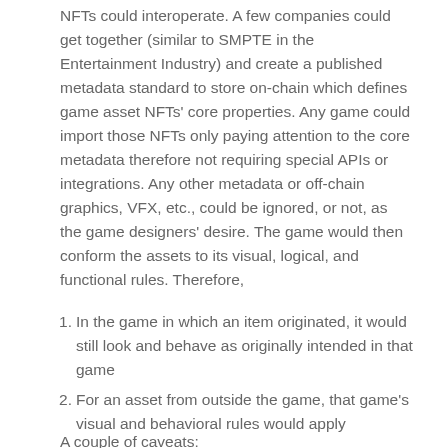NFTs could interoperate. A few companies could get together (similar to SMPTE in the Entertainment Industry) and create a published metadata standard to store on-chain which defines game asset NFTs' core properties. Any game could import those NFTs only paying attention to the core metadata therefore not requiring special APIs or integrations. Any other metadata or off-chain graphics, VFX, etc., could be ignored, or not, as the game designers' desire. The game would then conform the assets to its visual, logical, and functional rules. Therefore,
In the game in which an item originated, it would still look and behave as originally intended in that game
For an asset from outside the game, that game's visual and behavioral rules would apply
A couple of caveats: